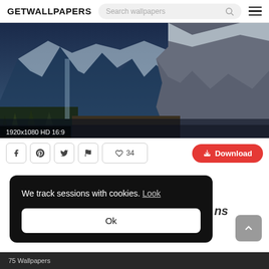GETWALLPAPERS
[Figure (screenshot): Screenshot of GETWALLPAPERS website showing a mountain wallpaper with snow-capped peaks and trees, labelled 1920x1080 HD 16:9, with social share buttons, a heart/like button showing 34 likes, a red Download button, and a cookie consent overlay reading 'We track sessions with cookies. Look' with an Ok button.]
1920x1080 HD 16:9
34
Download
We track sessions with cookies. Look
Ok
75 Wallpapers